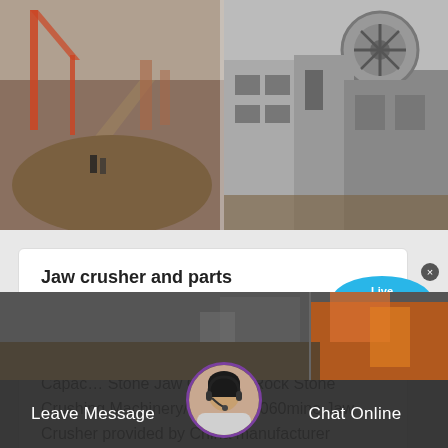[Figure (photo): Industrial jaw crusher and mining equipment site with cranes and conveyors, split into two panels side by side]
Jaw crusher and parts
China Jaw crusher and parts catalog of All Type PE&Pex Pex250*750 Mine Machine/Stone Crusher/Copper Mine Jaw Crusher, High Capac... Stone Jaw Crusher /Rock Stone Crushing Machinery/ PE 900*1060mine Jaw Crusher provided by China manufacturer
[Figure (photo): Bottom photo strip showing mining/crusher site with orange machinery, overlaid with dark bar showing Leave Message and Chat Online buttons and agent avatar]
[Figure (illustration): Live Chat speech bubble icon in blue]